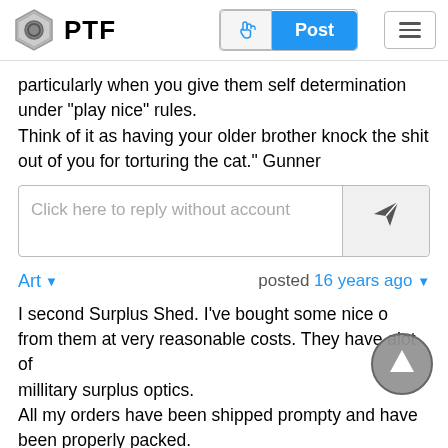PTF
particularly when you give them self determination under "play nice" rules.
Think of it as having your older brother knock the shit out of you for torturing the cat." Gunner
Click here to reply without account
Art  posted 16 years ago
I second Surplus Shed. I've bought some nice o from them at very reasonable costs. They have alot of millitary surplus optics.
All my orders have been shipped prompty and have been properly packed.